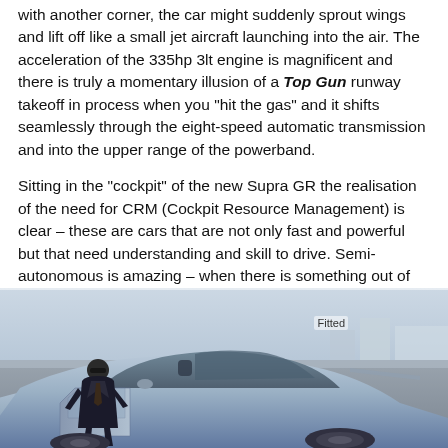with another corner, the car might suddenly sprout wings and lift off like a small jet aircraft launching into the air. The acceleration of the 335hp 3lt engine is magnificent and there is truly a momentary illusion of a Top Gun runway takeoff in process when you "hit the gas" and it shifts seamlessly through the eight-speed automatic transmission and into the upper range of the powerband.
Sitting in the "cockpit" of the new Supra GR the realisation of the need for CRM (Cockpit Resource Management) is clear – these are cars that are not only fast and powerful but that need understanding and skill to drive. Semi-autonomous is amazing – when there is something out of order the car will tell you and, if necessary, momentarily take control and, like a big brother, keep you out of trouble...
[Figure (photo): A person in a dark suit and sunglasses sitting in the open driver's door of a blue/silver Toyota Supra GR sports car, photographed from outside the vehicle in what appears to be a car dealership or showroom exterior setting.]